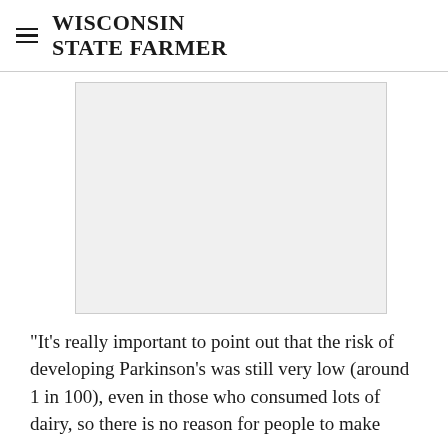WISCONSIN STATE FARMER
[Figure (other): Advertisement placeholder box with light gray background]
"It's really important to point out that the risk of developing Parkinson's was still very low (around 1 in 100), even in those who consumed lots of dairy, so there is no reason for people to make changes to their diet based on this research"